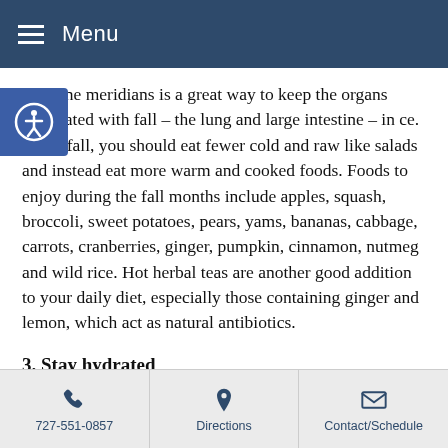Menu
intestine meridians is a great way to keep the organs associated with fall – the lung and large intestine – in ce. In the fall, you should eat fewer cold and raw like salads and instead eat more warm and cooked foods. Foods to enjoy during the fall months include apples, squash, broccoli, sweet potatoes, pears, yams, bananas, cabbage, carrots, cranberries, ginger, pumpkin, cinnamon, nutmeg and wild rice. Hot herbal teas are another good addition to your daily diet, especially those containing ginger and lemon, which act as natural antibiotics.
3. Stay hydrated
The large intestine and the lungs need to stay moist to function properly, so drinking lots of water is important
727-551-0857  Directions  Contact/Schedule